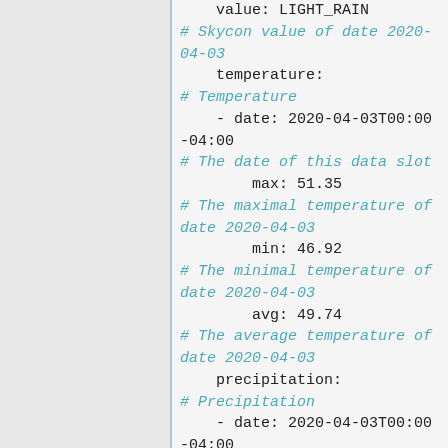value: LIGHT_RAIN
# Skycon value of date 2020-04-03
    temperature:
# Temperature
    - date: 2020-04-03T00:00-04:00
# The date of this data slot
        max: 51.35
# The maximal temperature of date 2020-04-03
        min: 46.92
# The minimal temperature of date 2020-04-03
        avg: 49.74
# The average temperature of date 2020-04-03
    precipitation:
# Precipitation
    - date: 2020-04-03T00:00-04:00
        max: 0.028
        min: 0
        avg: 0.0075